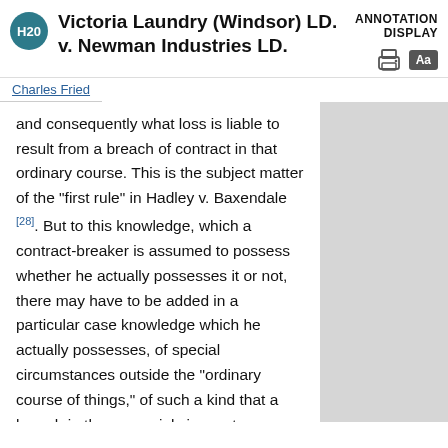Victoria Laundry (Windsor) LD. v. Newman Industries LD.
ANNOTATION DISPLAY
Charles Fried
and consequently what loss is liable to result from a breach of contract in that ordinary course. This is the subject matter of the "first rule" in Hadley v. Baxendale [28]. But to this knowledge, which a contract-breaker is assumed to possess whether he actually possesses it or not, there may have to be added in a particular case knowledge which he actually possesses, of special circumstances outside the "ordinary course of things," of such a kind that a breach in those special circumstances would be liable to cause more loss. Such a case